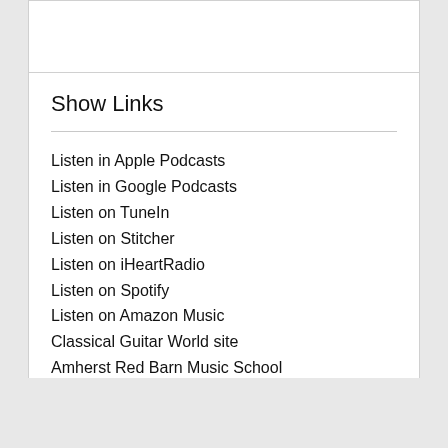Show Links
Listen in Apple Podcasts
Listen in Google Podcasts
Listen on TuneIn
Listen on Stitcher
Listen on iHeartRadio
Listen on Spotify
Listen on Amazon Music
Classical Guitar World site
Amherst Red Barn Music School
Channel Homepage
Bookmark This Show
iTunes Feed
Google Feed
Subscribe to RSS Feed